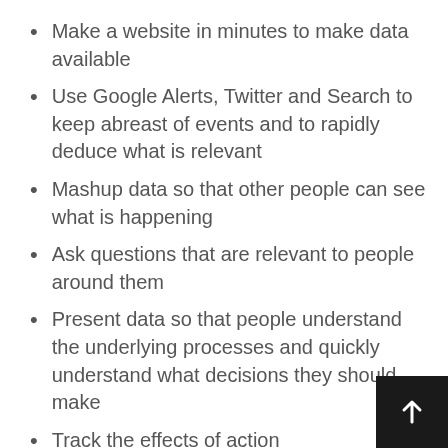Make a website in minutes to make data available
Use Google Alerts, Twitter and Search to keep abreast of events and to rapidly deduce what is relevant
Mashup data so that other people can see what is happening
Ask questions that are relevant to people around them
Present data so that people understand the underlying processes and quickly understand what decisions they should make
Track the effects of action
This sounds geeky.  It is a little.  To do any of this well, though, we need to understand people and their context.